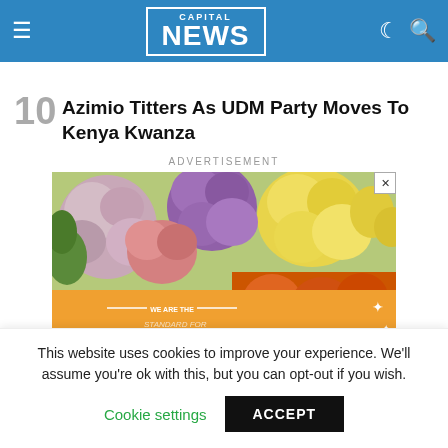Capital NEWS
10 Azimio Titters As UDM Party Moves To Kenya Kwanza
ADVERTISEMENT
[Figure (photo): Advertisement banner showing colorful roses (pink, purple, yellow, orange) and text 'WE ARE THE STANDARD FOR FRESHNESS - Kenya Siham']
This website uses cookies to improve your experience. We'll assume you're ok with this, but you can opt-out if you wish.
Cookie settings    ACCEPT